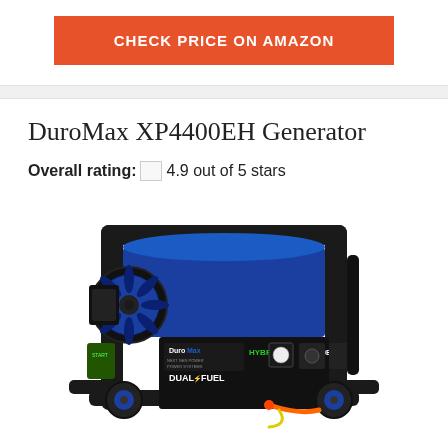CHECK PRICE ON AMAZON
DuroMax XP4400EH Generator
Overall rating: 4.9 out of 5 stars
[Figure (photo): DuroMax XP4400EH dual fuel hybrid generator, blue and black, shown at an angle with control panel visible]